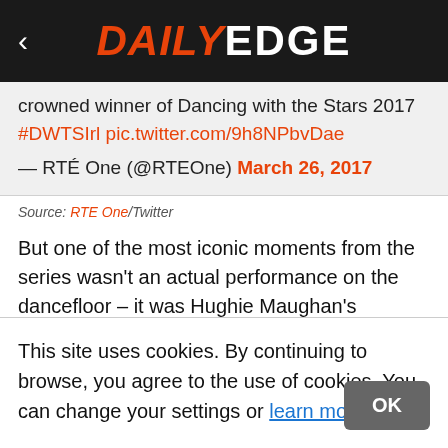DAILY EDGE
crowned winner of Dancing with the Stars 2017 #DWTSIrl pic.twitter.com/9h8NPbvDae
— RTÉ One (@RTEOne) March 26, 2017
Source: RTE One/Twitter
But one of the most iconic moments from the series wasn't an actual performance on the dancefloor – it was Hughie Maughan's legendary fake tan debacle all the...
This site uses cookies. By continuing to browse, you agree to the use of cookies. You can change your settings or learn more here.